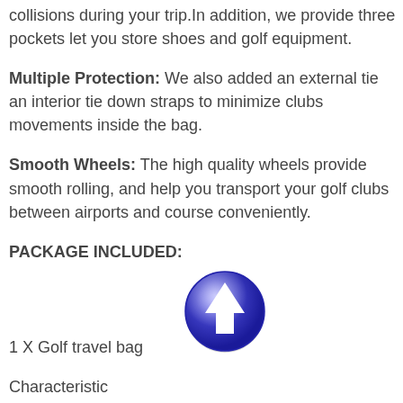collisions during your trip.In addition, we provide three pockets let you store shoes and golf equipment.
Multiple Protection: We also added an external tie an interior tie down straps to minimize clubs movements inside the bag.
Smooth Wheels: The high quality wheels provide smooth rolling, and help you transport your golf clubs between airports and course conveniently.
PACKAGE INCLUDED:
[Figure (illustration): A blue circular button/icon with a white upward-pointing arrow in the center]
1 X Golf travel bag
Characteristic
With Wheels None